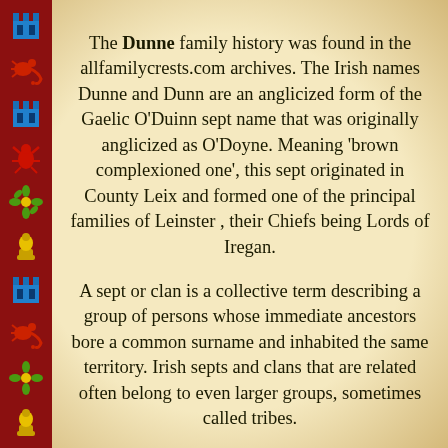[Figure (illustration): Left decorative border strip with dark red background containing alternating pixel-art style icons: chess rook (blue/teal), scorpion (red/orange), chess rook (blue/teal), lobster/crayfish (red), floral/snowflake (yellow/green), chess piece (yellow), chess rook (blue/teal), scorpion (red), floral (yellow/green), chess piece (yellow), chess rook (blue/teal), scorpion (red)]
The Dunne family history was found in the allfamilycrests.com archives. The Irish names Dunne and Dunn are an anglicized form of the Gaelic O'Duinn sept name that was originally anglicized as O'Doyne. Meaning 'brown complexioned one', this sept originated in County Leix and formed one of the principal families of Leinster , their Chiefs being Lords of Iregan.

A sept or clan is a collective term describing a group of persons whose immediate ancestors bore a common surname and inhabited the same territory. Irish septs and clans that are related often belong to even larger groups, sometimes called tribes.

The sept gets special mention in the sixteenth century as being hostile and dangerous to the English cause. It is in County Leix that the